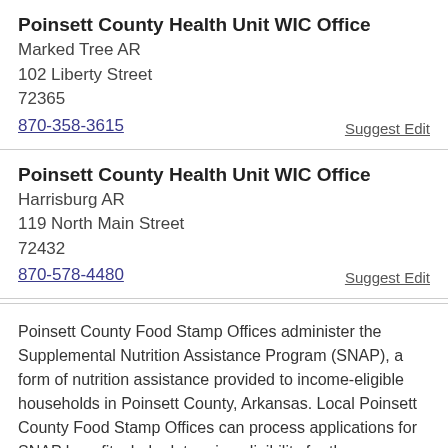Poinsett County Health Unit WIC Office
Marked Tree AR
102 Liberty Street
72365
870-358-3615
Suggest Edit
Poinsett County Health Unit WIC Office
Harrisburg AR
119 North Main Street
72432
870-578-4480
Suggest Edit
Poinsett County Food Stamp Offices administer the Supplemental Nutrition Assistance Program (SNAP), a form of nutrition assistance provided to income-eligible households in Poinsett County, Arkansas. Local Poinsett County Food Stamp Offices can process applications for SNAP benefits, help determine eligibility for the program, and provide nutritional education. They also help administer monthly benefits, distribute food assistance benefits, and accept applications from individuals and Poinsett County